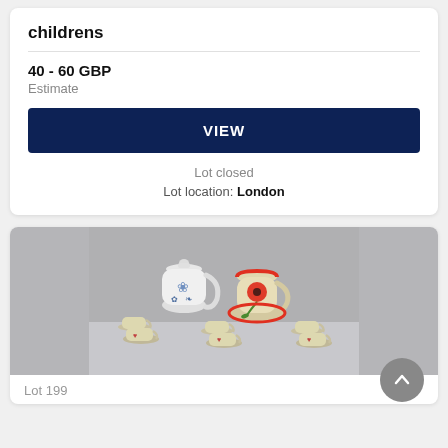childrens
40 - 60 GBP
Estimate
VIEW
Lot closed
Lot location: London
[Figure (photo): Photo of two ceramic pitchers/jugs — one white with blue floral pattern and lid, one cream with red poppy design — surrounded by six small cream cups with saucers decorated with heart and floral motifs, arranged on a grey surface.]
Lot 199